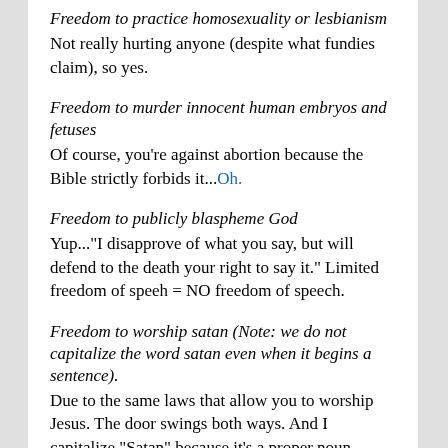Freedom to practice homosexuality or lesbianism
Not really hurting anyone (despite what fundies claim), so yes.
Freedom to murder innocent human embryos and fetuses
Of course, you're against abortion because the Bible strictly forbids it...Oh.
Freedom to publicly blaspheme God
Yup..."I disapprove of what you say, but will defend to the death your right to say it." Limited freedom of speeh = NO freedom of speech.
Freedom to worship satan (Note: we do not capitalize the word satan even when it begins a sentence).
Due to the same laws that allow you to worship Jesus. The door swings both ways. And I capitalize "Satan" because it's a proper noun.